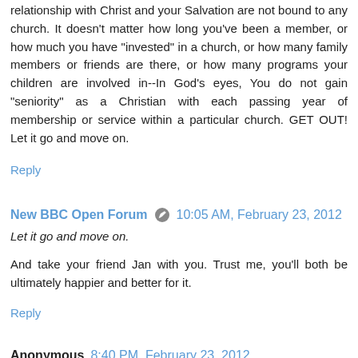relationship with Christ and your Salvation are not bound to any church. It doesn't matter how long you've been a member, or how much you have "invested" in a church, or how many family members or friends are there, or how many programs your children are involved in--In God's eyes, You do not gain "seniority" as a Christian with each passing year of membership or service within a particular church. GET OUT! Let it go and move on.
Reply
New BBC Open Forum  10:05 AM, February 23, 2012
Let it go and move on.
And take your friend Jan with you. Trust me, you'll both be ultimately happier and better for it.
Reply
Anonymous  8:40 PM, February 23, 2012